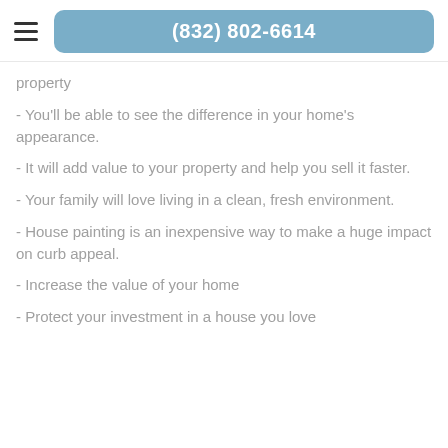(832) 802-6614
property
- You'll be able to see the difference in your home's appearance.
- It will add value to your property and help you sell it faster.
- Your family will love living in a clean, fresh environment.
- House painting is an inexpensive way to make a huge impact on curb appeal.
- Increase the value of your home
- Protect your investment in a house you love